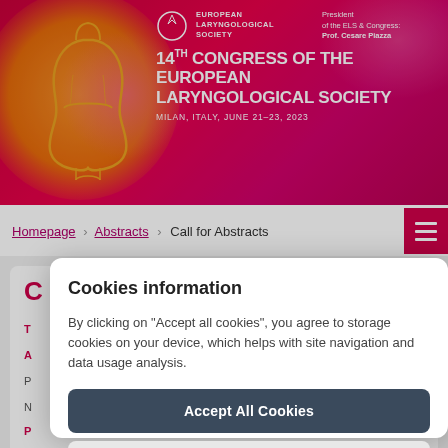EUROPEAN LARYNGOLOGICAL SOCIETY | 14TH CONGRESS OF THE EUROPEAN LARYNGOLOGICAL SOCIETY | MILAN, ITALY, JUNE 21-23, 2023 | President of the ELS & Congress: Prof. Cesare Piazza
Homepage > Abstracts > Call for Abstracts
Cookies information
By clicking on "Accept all cookies", you agree to storage cookies on your device, which helps with site navigation and data usage analysis.
Accept All Cookies
Cookies Preferences